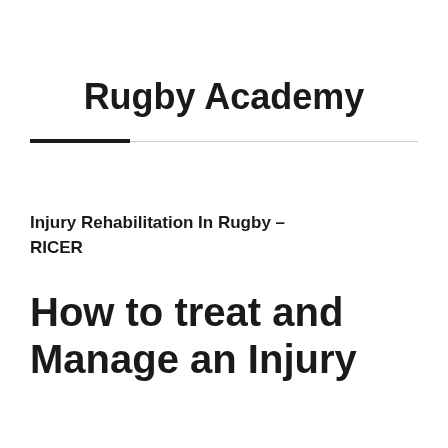Rugby Academy
Injury Rehabilitation In Rugby – RICER
How to treat and Manage an Injury